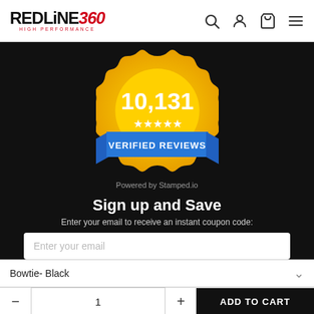[Figure (logo): Redline360 High Performance logo in black and red]
[Figure (illustration): Gold badge with '10,131' and five stars, blue ribbon banner reading 'VERIFIED REVIEWS', Powered by Stamped.io]
Sign up and Save
Enter your email to receive an instant coupon code:
Enter your email
Bowtie- Black
ADD TO CART